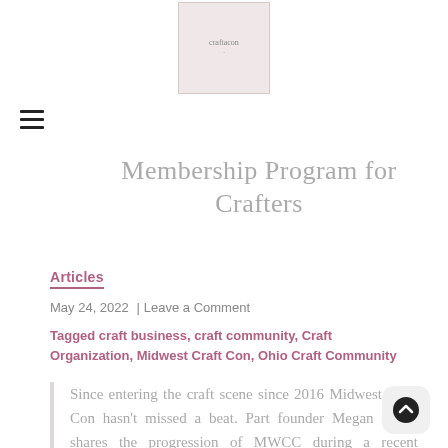[Figure (logo): Website logo image at top center — a small rectangular box with a soft pink/beige background and faint text]
Membership Program for Crafters
Articles
May 24, 2022 | Leave a Comment
Tagged craft business, craft community, Craft Organization, Midwest Craft Con, Ohio Craft Community
Since entering the craft scene since 2016 Midwest Craft Con hasn't missed a beat. Part founder Megan Green shares the progression of MWCC during a recent interview. Tell us all about Midwest Craft Con. What does the organization do, how did it [...]